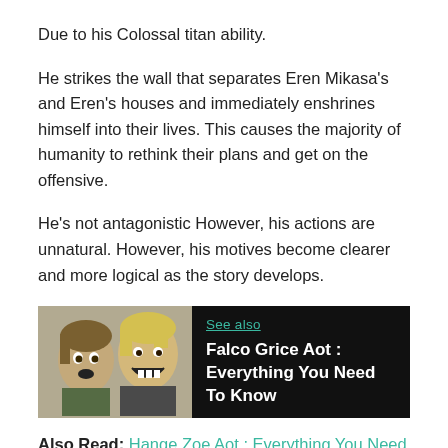Due to his Colossal titan ability.
He strikes the wall that separates Eren Mikasa's and Eren's houses and immediately enshrines himself into their lives. This causes the majority of humanity to rethink their plans and get on the offensive.
He's not antagonistic However, his actions are unnatural. However, his motives become clearer and more logical as the story develops.
[Figure (illustration): A 'See also' promotional box with a dark background featuring anime characters on the left side and text 'See also' and 'Falco Grice Aot : Everything You Need To Know' on the right.]
Also Read: Hange Zoe Aot : Everything You Need To